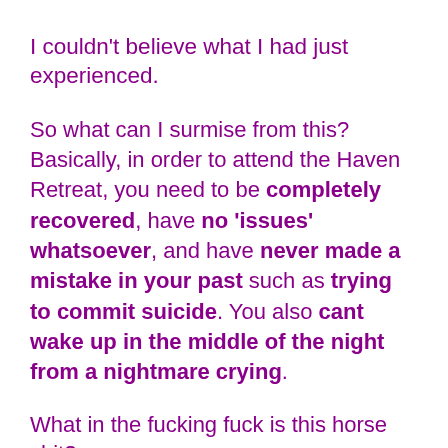I couldn’t believe what I had just experienced.
So what can I surmise from this? Basically, in order to attend the Haven Retreat, you need to be completely recovered, have no ‘issues’ whatsoever, and have never made a mistake in your past such as trying to commit suicide. You also cant wake up in the middle of the night from a nightmare crying.
What in the fucking fuck is this horse shit?